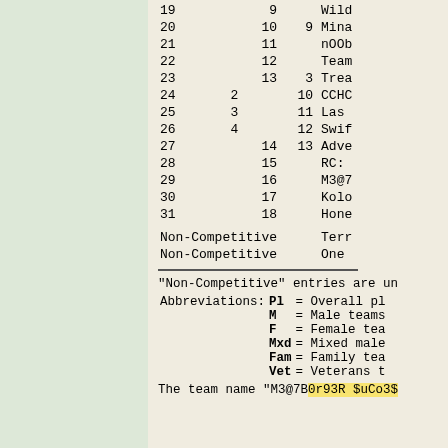| Pl | M | F | Mxd | Name |
| --- | --- | --- | --- | --- |
| 19 |  | 9 |  | Wild... |
| 20 |  | 10 | 9 | Mina... |
| 21 |  | 11 |  | nOOb... |
| 22 |  | 12 |  | Team... |
| 23 |  | 13 | 3 | Trea... |
| 24 | 2 |  | 10 | CCHC... |
| 25 | 3 |  | 11 | Las ... |
| 26 | 4 |  | 12 | Swif... |
| 27 |  | 14 | 13 | Adve... |
| 28 |  | 15 |  | RC: ... |
| 29 |  | 16 |  | M3@7... |
| 30 |  | 17 |  | Kolo... |
| 31 |  | 18 |  | Hone... |
| Non-Competitive |  |  |  | Terr... |
| Non-Competitive |  |  |  | One ... |
"Non-Competitive" entries are un...
Abbreviations: Pl = Overall pl...
M = Male teams...
F = Female tea...
Mxd = Mixed male...
Fam = Family tea...
Vet = Veterans t...
The team name "M3@7B0r93R $uCo3$...